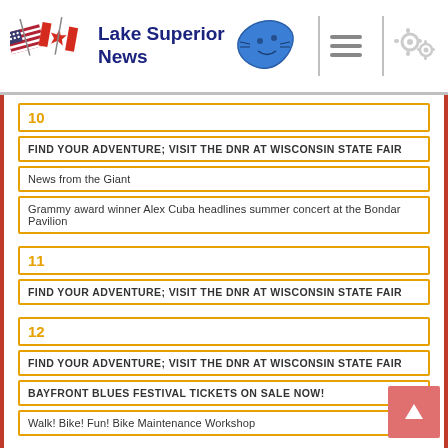Lake Superior News
10
FIND YOUR ADVENTURE; VISIT THE DNR AT WISCONSIN STATE FAIR
News from the Giant
Grammy award winner Alex Cuba headlines summer concert at the Bondar Pavilion
11
FIND YOUR ADVENTURE; VISIT THE DNR AT WISCONSIN STATE FAIR
12
FIND YOUR ADVENTURE; VISIT THE DNR AT WISCONSIN STATE FAIR
BAYFRONT BLUES FESTIVAL TICKETS ON SALE NOW!
Walk! Bike! Fun! Bike Maintenance Workshop
13